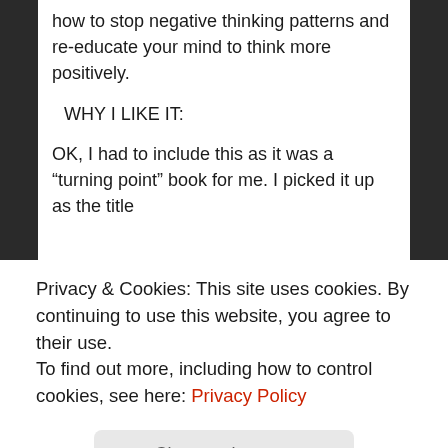how to stop negative thinking patterns and re-educate your mind to think more positively.
WHY I LIKE IT:
OK, I had to include this as it was a “turning point” book for me. I picked it up as the title
Privacy & Cookies: This site uses cookies. By continuing to use this website, you agree to their use.
To find out more, including how to control cookies, see here: Privacy Policy
Close and accept